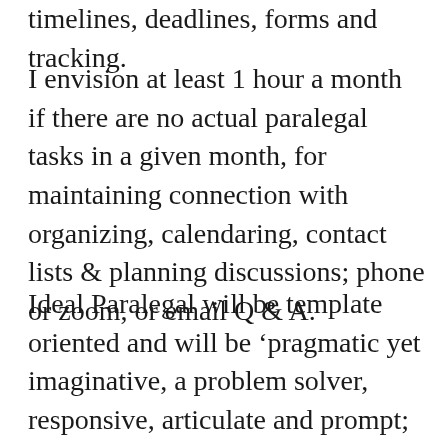timelines, deadlines, forms and tracking.
I envision at least 1 hour a month if there are no actual paralegal tasks in a given month, for maintaining connection with organizing, calendaring, contact lists & planning discussions; phone or zoom, or email Q & A.
Ideal Paralegal will be template oriented and will be ‘pragmatic yet imaginative, a problem solver, responsive, articulate and prompt; producing and polishing quality products in line with client vision;